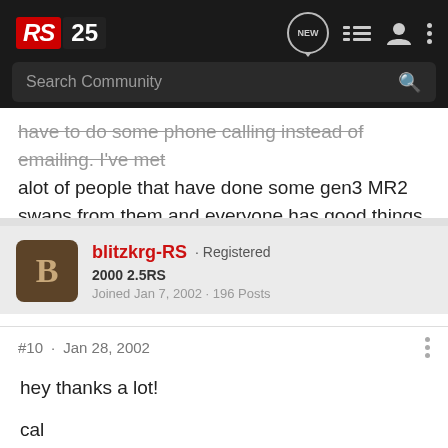RS25 - Search Community
have to do some phone calling instead of emailing. I've met alot of people that have done some gen3 MR2 swaps from them and everyone has good things to say about them.
blitzkrg-RS · Registered
2000 2.5RS
Joined Jan 7, 2002 · 196 Posts
#10 · Jan 28, 2002
hey thanks a lot!

cal